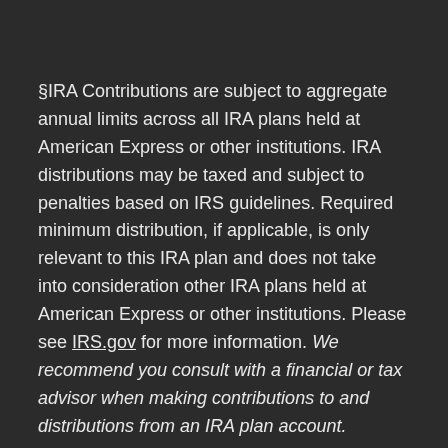§IRA Contributions are subject to aggregate annual limits across all IRA plans held at American Express or other institutions. IRA distributions may be taxed and subject to penalties based on IRS guidelines. Required minimum distribution, if applicable, is only relevant to this IRA plan and does not take into consideration other IRA plans held at American Express or other institutions. Please see IRS.gov for more information. We recommend you consult with a financial or tax advisor when making contributions to and distributions from an IRA plan account.